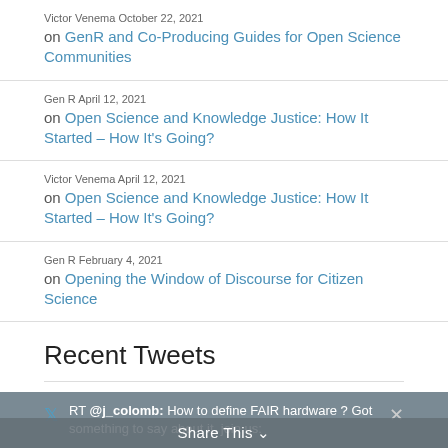Victor Venema October 22, 2021 on GenR and Co-Producing Guides for Open Science Communities
Gen R April 12, 2021 on Open Science and Knowledge Justice: How It Started – How It's Going?
Victor Venema April 12, 2021 on Open Science and Knowledge Justice: How It Started – How It's Going?
Gen R February 4, 2021 on Opening the Window of Discourse for Citizen Science
Recent Tweets
RT @j_colomb: How to define FAIR hardware ? Got something to say about it, join us: